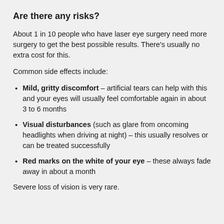Are there any risks?
About 1 in 10 people who have laser eye surgery need more surgery to get the best possible results. There's usually no extra cost for this.
Common side effects include:
Mild, gritty discomfort – artificial tears can help with this and your eyes will usually feel comfortable again in about 3 to 6 months
Visual disturbances (such as glare from oncoming headlights when driving at night) – this usually resolves or can be treated successfully
Red marks on the white of your eye – these always fade away in about a month
Severe loss of vision is very rare.